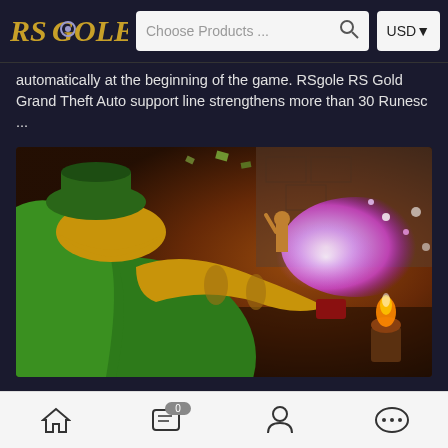RSgole | Choose Products ... | USD
automatically at the beginning of the game. RSgole RS Gold Grand Theft Auto support line strengthens more than 30 Runesc ...
[Figure (photo): Colorful video game screenshot showing a large green goblin/creature character with a gold cannon firing a glowing pink/white blast in a fantasy dungeon scene]
Rsgole.com - rs gold and items for sa ...
Nov-23-2016
I have the several goal of becoming a players moderator. Getting players claims to do with Reddit, my friend i thought i'd thought to be
Home | Chat (0) | Profile | More